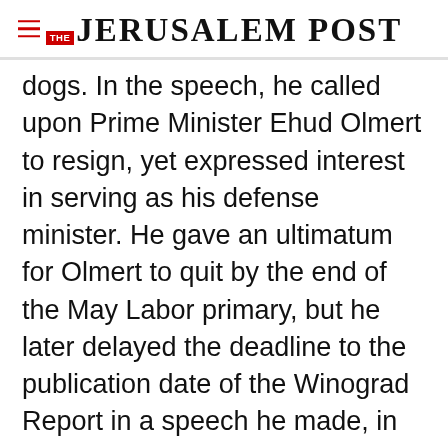THE JERUSALEM POST
dogs. In the speech, he called upon Prime Minister Ehud Olmert to resign, yet expressed interest in serving as his defense minister. He gave an ultimatum for Olmert to quit by the end of the May Labor primary, but he later delayed the deadline to the publication date of the Winograd Report in a speech he made, in June, to earn the endorsement of MK Ophir Paz-Pines. "[The report] requires personal conclusions,"
Advertisement